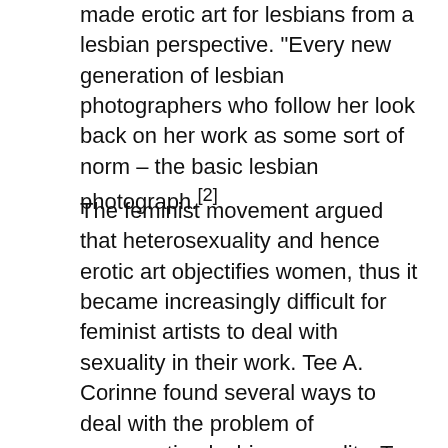made erotic art for lesbians from a lesbian perspective. "Every new generation of lesbian photographers who follow her look back on her work as some sort of norm – the basic lesbian photograph.[2]
The feminist movement argued that heterosexuality and hence erotic art objectifies women, thus it became increasingly difficult for feminist artists to deal with sexuality in their work. Tee A. Corinne found several ways to deal with the problem of representing lesbian sexuality. To avoid the male gaze, she either used specific techniques to create abstract or metaphoric images, or she insisted that sexually explicit work was only displayed in women-only exhibitions and publications.